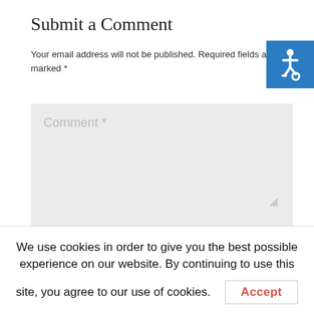Submit a Comment
Your email address will not be published. Required fields are marked *
[Figure (illustration): Accessibility icon: white wheelchair symbol on blue background]
Comment *
Name *
We use cookies in order to give you the best possible experience on our website. By continuing to use this site, you agree to our use of cookies.
Accept